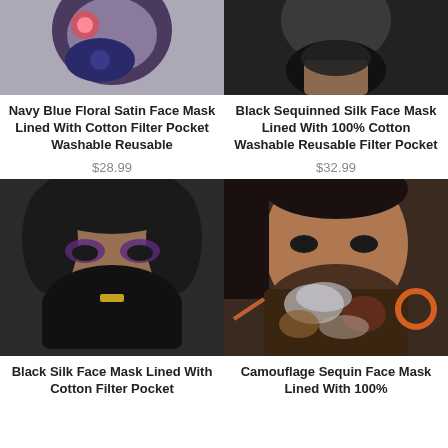[Figure (photo): Woman wearing a navy blue floral satin face mask, cropped at top]
[Figure (photo): Woman wearing a black sequinned silk face mask, cropped at top]
Navy Blue Floral Satin Face Mask Lined With Cotton Filter Pocket Washable Reusable
$28.99
Black Sequinned Silk Face Mask Lined With 100% Cotton Washable Reusable Filter Pocket
$32.99
[Figure (photo): Woman with curly hair and bold purple eye makeup wearing a black silk face mask]
[Figure (photo): Woman wearing a camouflage sequin face mask with rose gold accents]
Black Silk Face Mask Lined With Cotton Filter Pocket
Camouflage Sequin Face Mask Lined With 100%